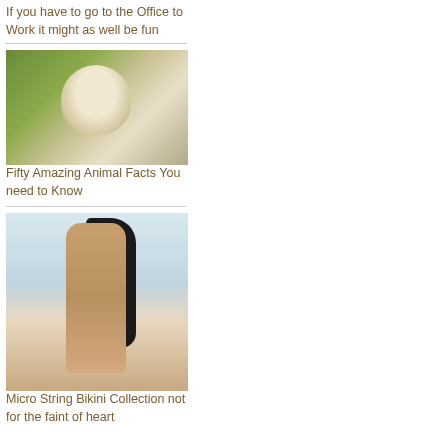If you have to go to the Office to Work it might as well be fun
[Figure (photo): Close-up photo of a white-faced capuchin monkey looking at camera, sitting in a tree]
Fifty Amazing Animal Facts You need to Know
[Figure (photo): Photo of a woman in a micro string bikini posing outdoors in a snowy setting]
Micro String Bikini Collection not for the faint of heart